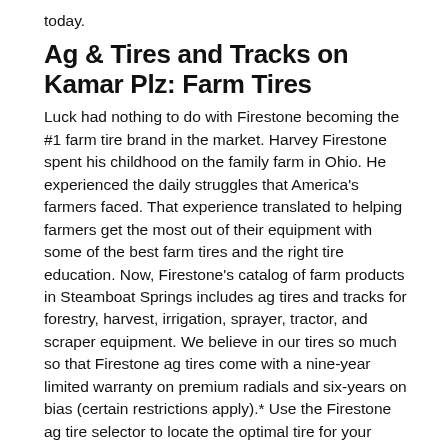today.
Ag & Tires and Tracks on Kamar Plz: Farm Tires
Luck had nothing to do with Firestone becoming the #1 farm tire brand in the market. Harvey Firestone spent his childhood on the family farm in Ohio. He experienced the daily struggles that America's farmers faced. That experience translated to helping farmers get the most out of their equipment with some of the best farm tires and the right tire education. Now, Firestone's catalog of farm products in Steamboat Springs includes ag tires and tracks for forestry, harvest, irrigation, sprayer, tractor, and scraper equipment. We believe in our tires so much so that Firestone ag tires come with a nine-year limited warranty on premium radials and six-years on bias (certain restrictions apply).* Use the Firestone ag tire selector to locate the optimal tire for your application. Shop by tire size, rim diameter, rolling circumference, or equipment.
Get Off-the-Road Tires at GCR TIRES & SERVICE
You'll find Firestone everywhere there's work to be done. Even